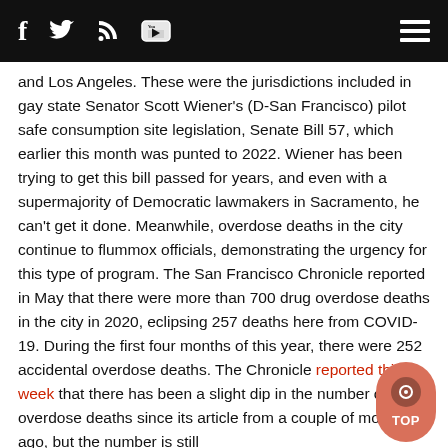f [twitter] [rss] [youtube] [menu]
and Los Angeles. These were the jurisdictions included in gay state Senator Scott Wiener's (D-San Francisco) pilot safe consumption site legislation, Senate Bill 57, which earlier this month was punted to 2022. Wiener has been trying to get this bill passed for years, and even with a supermajority of Democratic lawmakers in Sacramento, he can't get it done. Meanwhile, overdose deaths in the city continue to flummox officials, demonstrating the urgency for this type of program. The San Francisco Chronicle reported in May that there were more than 700 drug overdose deaths in the city in 2020, eclipsing 257 deaths here from COVID-19. During the first four months of this year, there were 252 accidental overdose deaths. The Chronicle reported this week that there has been a slight dip in the number of overdose deaths since its article from a couple of months ago, but the number is still